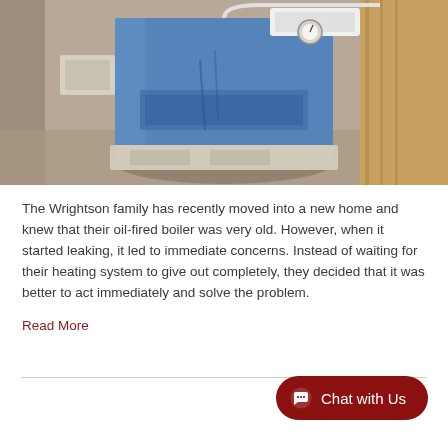[Figure (photo): A blue oil-fired boiler in a basement/utility room setting. The boiler is large and rectangular, with pipes, gauges, and a white component on top. The surroundings show a stone/concrete wall and wooden elements.]
The Wrightson family has recently moved into a new home and knew that their oil-fired boiler was very old. However, when it started leaking, it led to immediate concerns. Instead of waiting for their heating system to give out completely, they decided that it was better to act immediately and solve the problem.
Read More
Chat with Us